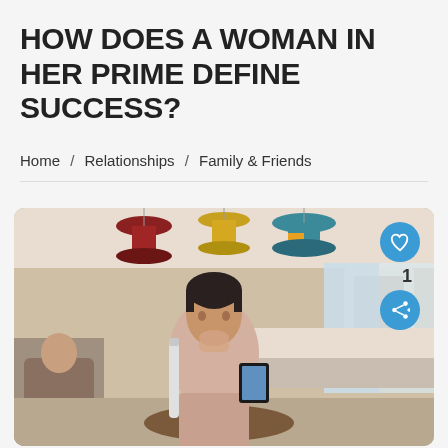HOW DOES A WOMAN IN HER PRIME DEFINE SUCCESS?
Home /  Relationships /  Family & Friends
[Figure (photo): A middle-aged woman with short dark hair sits thoughtfully at a cafe table, resting her chin on her hand, holding a tablet, with a coffee cup in front of her. The cafe background is blurred with colorful hanging lamps.]